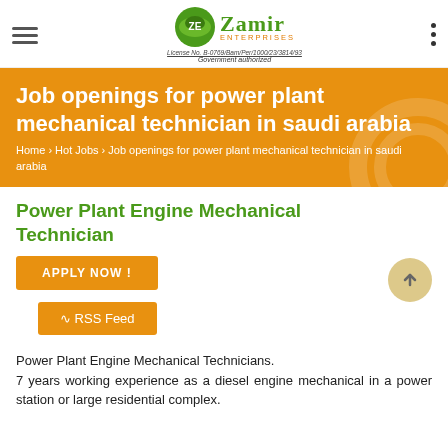Zamir Enterprises — License No. B-0769/Bam/Per/1000/23/3814/93 — Government authorized
Job openings for power plant mechanical technician in saudi arabia
Home › Hot Jobs › Job openings for power plant mechanical technician in saudi arabia
Power Plant Engine Mechanical Technician
APPLY NOW !
RSS Feed
Power Plant Engine Mechanical Technicians.
7 years working experience as a diesel engine mechanical in a power station or large residential complex.